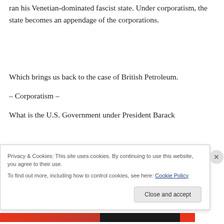ran his Venetian-dominated fascist state. Under corporatism, the state becomes an appendage of the corporations.
Which brings us back to the case of British Petroleum.
– Corporatism –
What is the U.S. Government under President Barack
Privacy & Cookies: This site uses cookies. By continuing to use this website, you agree to their use.
To find out more, including how to control cookies, see here: Cookie Policy
Close and accept